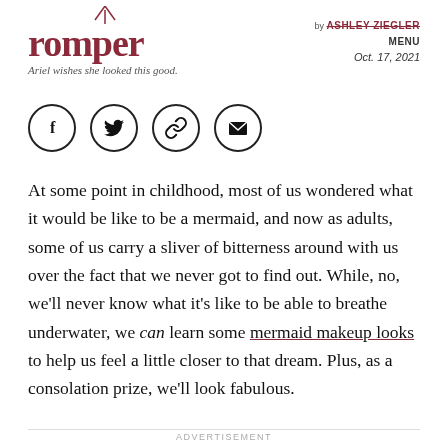romper — Ariel wishes she looked this good. by ASHLEY ZIEGLER / Oct. 17, 2021
[Figure (illustration): Four social sharing icons in circles: Facebook (f), Twitter (bird), link/chain, and envelope/email]
At some point in childhood, most of us wondered what it would be like to be a mermaid, and now as adults, some of us carry a sliver of bitterness around with us over the fact that we never got to find out. While, no, we'll never know what it's like to be able to breathe underwater, we can learn some mermaid makeup looks to help us feel a little closer to that dream. Plus, as a consolation prize, we'll look fabulous.
ADVERTISEMENT